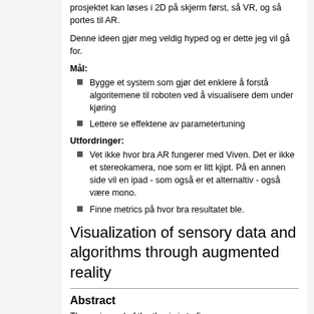prosjektet kan løses i 2D på skjerm først, så VR, og så portes til AR.
Denne ideen gjør meg veldig hyped og er dette jeg vil gå for.
Mål:
Bygge et system som gjør det enklere å forstå algoritemene til roboten ved å visualisere dem under kjøring
Lettere se effektene av parametertuning
Utfordringer:
Vet ikke hvor bra AR fungerer med Viven. Det er ikke et stereokamera, noe som er litt kjipt. På en annen side vil en ipad - som også er et alternaltiv - også være mono.
Finne metrics på hvor bra resultatet ble.
Visualization of sensory data and algorithms through augmented reality
Abstract
The main goal of the thesis is to fix...